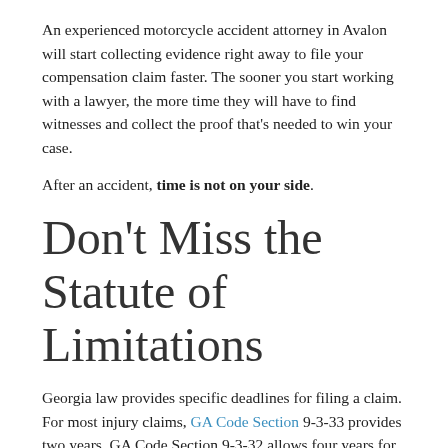An experienced motorcycle accident attorney in Avalon will start collecting evidence right away to file your compensation claim faster. The sooner you start working with a lawyer, the more time they will have to find witnesses and collect the proof that's needed to win your case.
After an accident, time is not on your side.
Don't Miss the Statute of Limitations
Georgia law provides specific deadlines for filing a claim. For most injury claims, GA Code Section 9-3-33 provides two years. GA Code Section 9-3-32 allows four years for property damage claims. The countdown begins on the date the accident occurred.